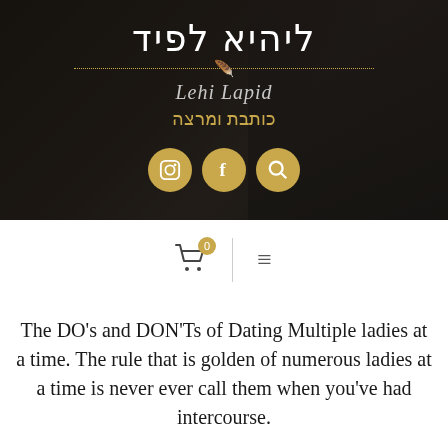[Figure (photo): Website header with dark background photo of a woman, Hebrew text title, script name 'Lehi Lapid', Hebrew subtitle, and social media icons]
ליהיא לפיד
Lehi Lapid
כותבת ומרצה
Navigation bar with cart icon (0), divider, and hamburger menu
The DO's and DON'Ts of Dating Multiple ladies at a time. The rule that is golden of numerous ladies at a time is never ever call them when you've had intercourse.